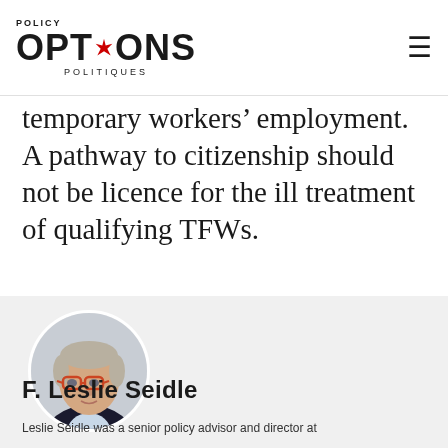Policy Options Politiques
temporary workers' employment. A pathway to citizenship should not be licence for the ill treatment of qualifying TFWs.
[Figure (photo): Circular headshot photo of F. Leslie Seidle, a man with short grey hair, red-framed glasses, wearing a dark blazer and light blue shirt, against a light grey background.]
F. Leslie Seidle
Leslie Seidle was a senior policy advisor and director at...